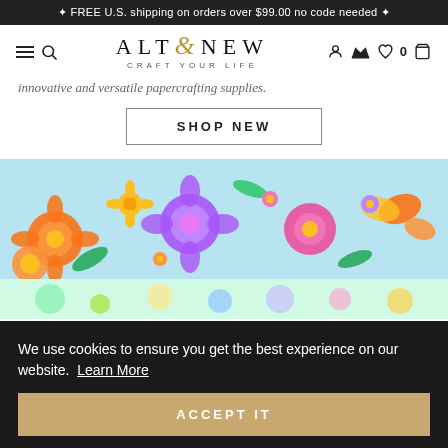🌟 FREE U.S. shipping on orders over $99.00 no code needed 🌟
[Figure (logo): Altenew logo with gold ampersand, tagline CRAFT YOUR LIFE, hamburger menu, search icon, user icon, crown icon, heart with 0, cart icon]
innovative and versatile papercrafting supplies.
SHOP NEW
[Figure (photo): Colorful floral arrangement on light blue background with roses, flowers, butterflies, orange and purple blooms]
We use cookies to ensure you get the best experience on our website. Learn More
ACCEPT IT
[Figure (photo): Bottom strip showing colorful flowers and nature imagery]